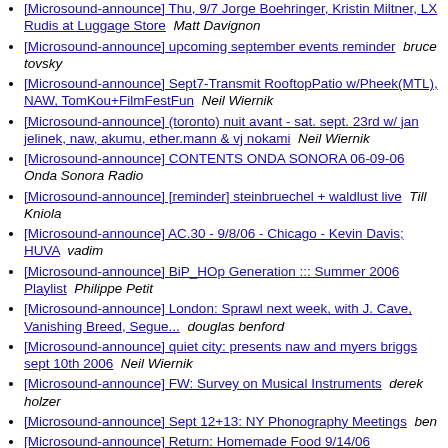[Microsound-announce] Thu, 9/7 Jorge Boehringer, Kristin Miltner, LX Rudis at Luggage Store  Matt Davignon
[Microsound-announce] upcoming september events reminder  bruce tovsky
[Microsound-announce] Sept7-Transmit RooftopPatio w/Pheek(MTL), NAW, TomKou+FilmFestFun  Neil Wiernik
[Microsound-announce] (toronto) nuit avant - sat. sept. 23rd w/ jan jelinek, naw, akumu, ether.mann & vj nokami  Neil Wiernik
[Microsound-announce] CONTENTS ONDA SONORA 06-09-06  Onda Sonora Radio
[Microsound-announce] [reminder] steinbruechel + waldlust live  Till Kniola
[Microsound-announce] AC.30 - 9/8/06 - Chicago - Kevin Davis; HUVA  vadim
[Microsound-announce] BiP_HOp Generation ::: Summer 2006 Playlist  Philippe Petit
[Microsound-announce] London: Sprawl next week, with J. Cave, Vanishing Breed, Segue...  douglas benford
[Microsound-announce] quiet city: presents naw and myers briggs sept 10th 2006  Neil Wiernik
[Microsound-announce] FW: Survey on Musical Instruments  derek holzer
[Microsound-announce] Sept 12+13: NY Phonography Meetings  ben
[Microsound-announce] Return: Homemade Food 9/14/06